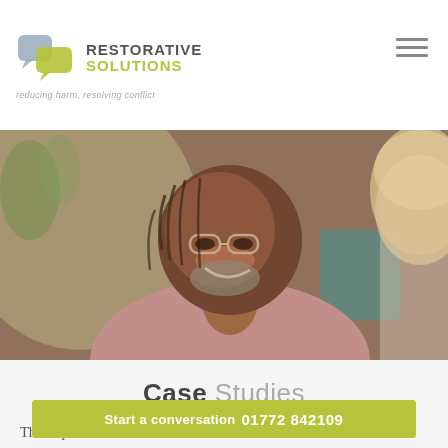[Figure (logo): Restorative Solutions logo with two interlocking chat bubble icons in teal/green, brand name in grey and yellow-green, tagline: reducing harm, resolving conflict]
[Figure (photo): Hero banner photo of a smiling older Black man with glasses and grey beard, laughing with another person partially visible on right, warm indoor setting]
Case Studies
The impact of Restorative Justice can be enormous for victims of crime, offenders, and the wider community. Read through the case studies below to discover how transformative Restorative Justice...
Start a conversation  01772 842109